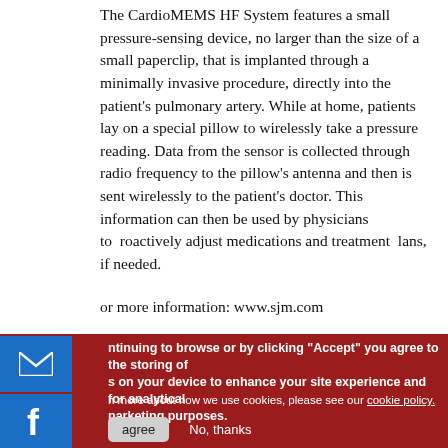The CardioMEMS HF System features a small pressure-sensing device, no larger than the size of a small paperclip, that is implanted through a minimally invasive procedure, directly into the patient's pulmonary artery. While at home, patients lay on a special pillow to wirelessly take a pressure reading. Data from the sensor is collected through radio frequency to the pillow's antenna and then is sent wirelessly to the patient's doctor. This information can then be used by physicians to proactively adjust medications and treatment plans, if needed.
For more information: www.sjm.com
By continuing to browse or by clicking "Accept" you agree to the storing of cookies on your device to enhance your site experience and for analytical and marketing purposes.
To learn more about how we use cookies, please see our cookie policy.
I agree   No, thanks